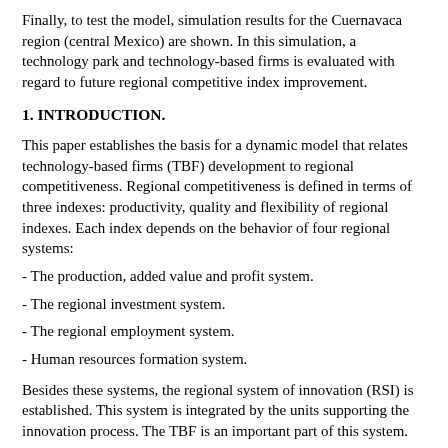Finally, to test the model, simulation results for the Cuernavaca region (central Mexico) are shown. In this simulation, a technology park and technology-based firms is evaluated with regard to future regional competitive index improvement.
1. INTRODUCTION.
This paper establishes the basis for a dynamic model that relates technology-based firms (TBF) development to regional competitiveness. Regional competitiveness is defined in terms of three indexes: productivity, quality and flexibility of regional indexes. Each index depends on the behavior of four regional systems:
- The production, added value and profit system.
- The regional investment system.
- The regional employment system.
- Human resources formation system.
Besides these systems, the regional system of innovation (RSI) is established. This system is integrated by the units supporting the innovation process. The TBF is an important part of this system.
Science or technology parks are instruments to encourage the TBF